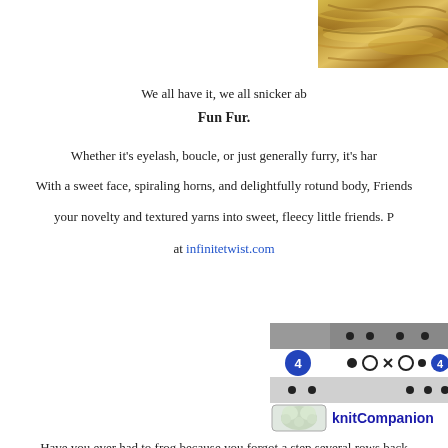[Figure (photo): Close-up photo of golden/yellow fluffy yarn in upper right corner]
We all have it, we all snicker ab
Fun Fur.
Whether it's eyelash, boucle, or just generally furry, it's har
With a sweet face, spiraling horns, and delightfully rotund body, Friends
your novelty and textured yarns into sweet, fleecy little friends. P
at infinitetwist.com
[Figure (screenshot): knitCompanion app screenshot showing a knitting chart with row markers including circles, arrows, and numbered row indicator (4)]
Have you ever had to frog because you forgot a step several rows back magnet board or lost track with your highlighter tape? Instead of wrestl keeps you on track so you can knit more and frog less. knitCompanion for apple, android and kindle fire